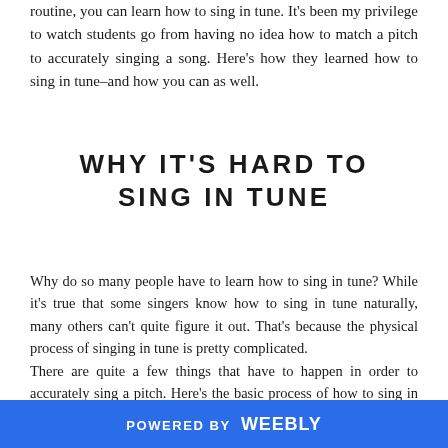routine, you can learn how to sing in tune. It's been my privilege to watch students go from having no idea how to match a pitch to accurately singing a song. Here's how they learned how to sing in tune–and how you can as well.
WHY IT'S HARD TO SING IN TUNE
Why do so many people have to learn how to sing in tune? While it's true that some singers know how to sing in tune naturally, many others can't quite figure it out. That's because the physical process of singing in tune is pretty complicated.
There are quite a few things that have to happen in order to accurately sing a pitch. Here's the basic process of how to sing in tune:
1. Hear a note.
POWERED BY weebly